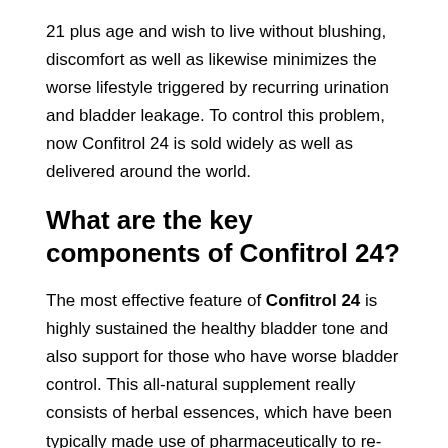21 plus age and wish to live without blushing, discomfort as well as likewise minimizes the worse lifestyle triggered by recurring urination and bladder leakage. To control this problem, now Confitrol 24 is sold widely as well as delivered around the world.
What are the key components of Confitrol 24?
The most effective feature of Confitrol 24 is highly sustained the healthy bladder tone and also support for those who have worse bladder control. This all-natural supplement really consists of herbal essences, which have been typically made use of pharmaceutically to re-establish the energy of healthy and balanced bladder. According to the professional research, it has actually been shown that this original and also special solution assists to support the healthy and